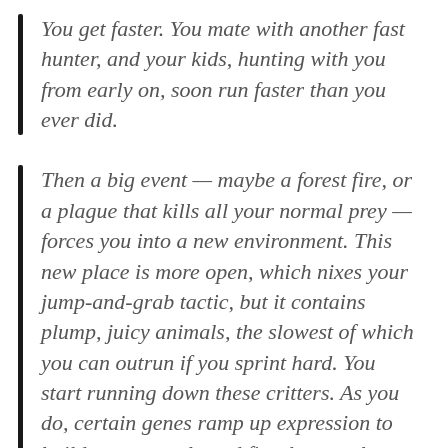You get faster. You mate with another fast hunter, and your kids, hunting with you from early on, soon run faster than you ever did.
Then a big event — maybe a forest fire, or a plague that kills all your normal prey — forces you into a new environment. This new place is more open, which nixes your jump-and-grab tactic, but it contains plump, juicy animals, the slowest of which you can outrun if you sprint hard. You start running down these critters. As you do, certain genes ramp up expression to build more muscle and fire the muscles